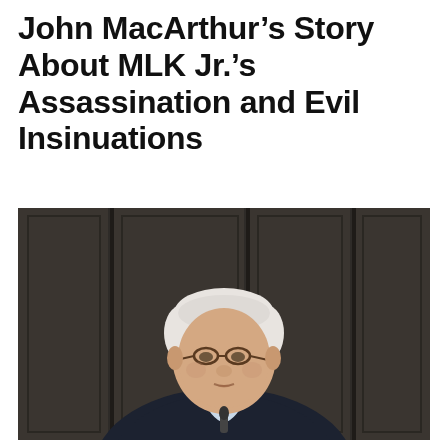John MacArthur’s Story About MLK Jr.’s Assassination and Evil Insinuations
[Figure (photo): Photograph of an elderly white-haired man wearing glasses, a dark suit, light blue dress shirt, and a yellow/gold patterned tie, standing at a podium with a microphone, in front of a dark wood-paneled background.]